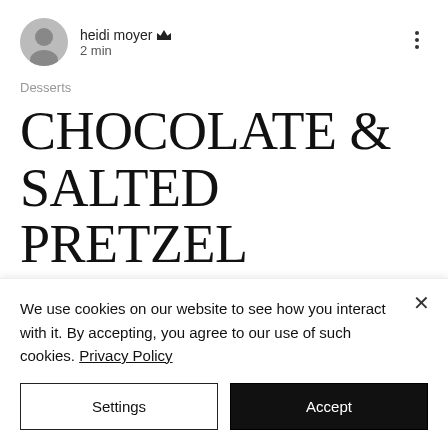heidi moyer 👑
2 min
Desserts
CHOCOLATE & SALTED PRETZEL OAT COOKIE BARS
Oh these are ridiculous. A super, cooler-weather dessert bar, for the
We use cookies on our website to see how you interact with it. By accepting, you agree to our use of such cookies. Privacy Policy
Settings
Accept